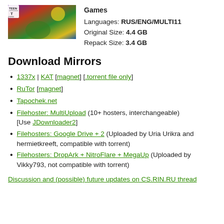[Figure (photo): Colorful video game cover art with fantasy characters, ESRB Teen rating badge visible]
Games
Languages: RUS/ENG/MULTI11
Original Size: 4.4 GB
Repack Size: 3.4 GB
Download Mirrors
1337x | KAT [magnet] [.torrent file only]
RuTor [magnet]
Tapochek.net
Filehoster: MultiUpload (10+ hosters, interchangeable) [Use JDownloader2]
Filehosters: Google Drive + 2 (Uploaded by Uria Urikra and hermietkreeft, compatible with torrent)
Filehosters: DropArk + NitroFlare + MegaUp (Uploaded by Vikky793, not compatible with torrent)
Discussion and (possible) future updates on CS.RIN.RU thread